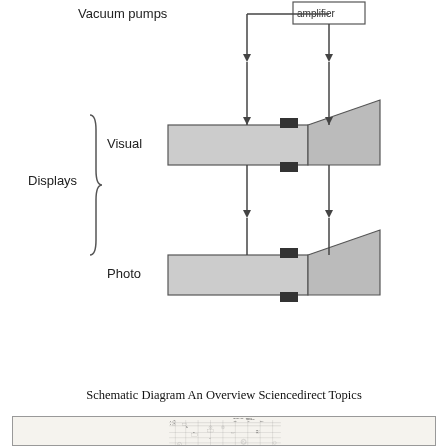[Figure (schematic): Schematic diagram showing vacuum pump system with amplifier connected to visual and photo displays via beam-splitter style optical elements. Labels: Vacuum pumps, amplifier (box at top right), Displays brace with Visual and Photo labels, two conical optical elements.]
Schematic Diagram An Overview Sciencedirect Topics
[Figure (engineering-diagram): Complex electrical/wiring schematic diagram with multiple components, relays, switches, transformers, and wiring connections. Handwritten and printed labels throughout including NEXTOR, GENERAL, TROT NOU/R, and various component identifiers.]